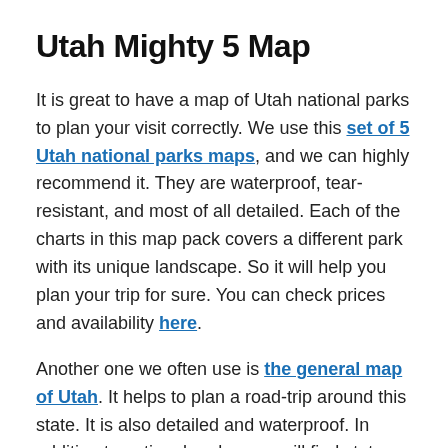Utah Mighty 5 Map
It is great to have a map of Utah national parks to plan your visit correctly. We use this set of 5 Utah national parks maps, and we can highly recommend it. They are waterproof, tear-resistant, and most of all detailed. Each of the charts in this map pack covers a different park with its unique landscape. So it will help you plan your trip for sure. You can check prices and availability here.
Another one we often use is the general map of Utah. It helps to plan a road-trip around this state. It is also detailed and waterproof. In addition to national parks, you will find state parks, national forests, campsites, ski areas, hospitals, airports